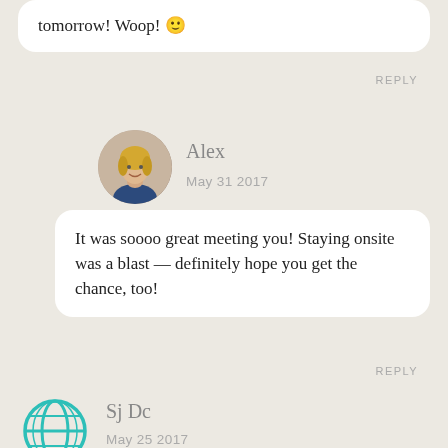tomorrow! Woop! 🙂
REPLY
Alex
May 31 2017
It was soooo great meeting you! Staying onsite was a blast — definitely hope you get the chance, too!
REPLY
[Figure (illustration): Circular avatar photo of a blonde woman named Alex]
Sj Dc
May 25 2017
[Figure (illustration): Globe/world icon in teal color used as default avatar for Sj Dc]
Thank you fpr the amazing giveaway and hope your fabulous